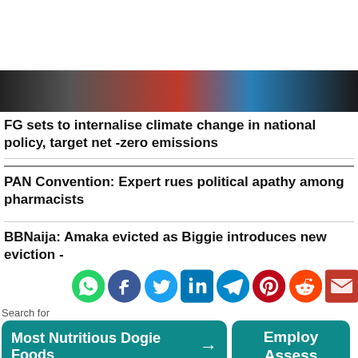[Figure (photo): News article header image showing people at a desk/table, partially visible, colorful scene]
FG sets to internalise climate change in national policy, target net -zero emissions
PAN Convention: Expert rues political apathy among pharmacists
BBNaija: Amaka evicted as Biggie introduces new eviction -
[Figure (infographic): Social media sharing icons row: WhatsApp (green), Facebook (blue), Twitter (light blue), LinkedIn (blue), Telegram (blue), Pinterest (red), Reddit (orange-red), Email (red)]
Search for
Most Nutritious Dogie Foods →
Employ Assess
Yahoo! Search | Sponsored